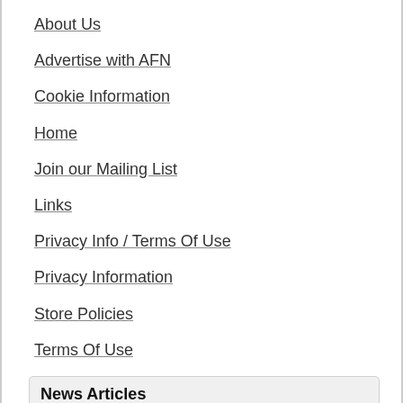About Us
Advertise with AFN
Cookie Information
Home
Join our Mailing List
Links
Privacy Info / Terms Of Use
Privacy Information
Store Policies
Terms Of Use
News Articles
Here is a list of fireworks demo nights with a sample issue of AFN
Online Store Categories
Donations
DVDs
DVDs - Beginner